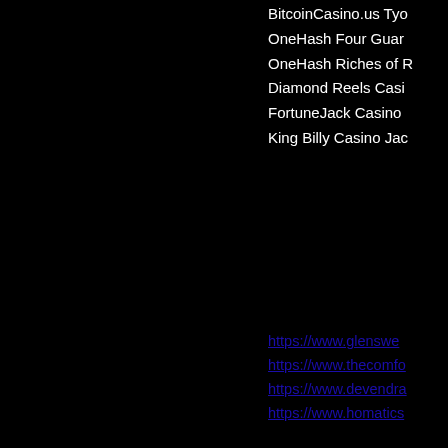BitcoinCasino.us Tyo
OneHash Four Guar
OneHash Riches of R
Diamond Reels Casi
FortuneJack Casino
King Billy Casino Jac
https://www.glenswe
https://www.thecomfo
https://www.devendra
https://www.homatics